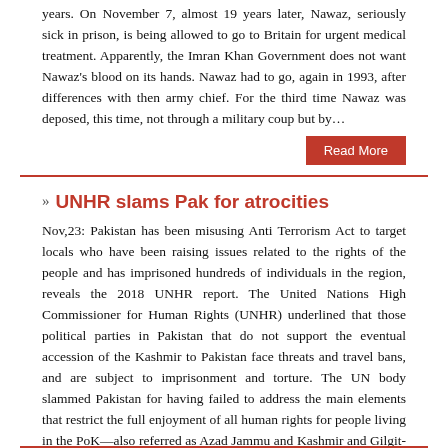years. On November 7, almost 19 years later, Nawaz, seriously sick in prison, is being allowed to go to Britain for urgent medical treatment. Apparently, the Imran Khan Government does not want Nawaz's blood on its hands. Nawaz had to go, again in 1993, after differences with then army chief. For the third time Nawaz was deposed, this time, not through a military coup but by…
Read More
UNHR slams Pak for atrocities
Nov,23: Pakistan has been misusing Anti Terrorism Act to target locals who have been raising issues related to the rights of the people and has imprisoned hundreds of individuals in the region, reveals the 2018 UNHR report. The United Nations High Commissioner for Human Rights (UNHR) underlined that those political parties in Pakistan that do not support the eventual accession of the Kashmir to Pakistan face threats and travel bans, and are subject to imprisonment and torture. The UN body slammed Pakistan for having failed to address the main elements that restrict the full enjoyment of all human rights for people living in the PoK—also referred as Azad Jammu and Kashmir and Gilgit-Baltis…
Read More